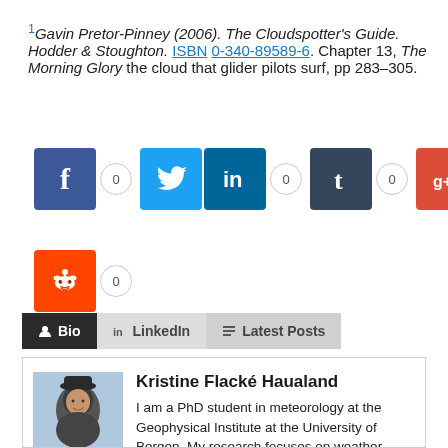1 Gavin Pretor-Pinney (2006). The Cloudspotter's Guide. Hodder & Stoughton. ISBN 0-340-89589-6. Chapter 13, The Morning Glory the cloud that glider pilots surf, pp 283–305.
[Figure (infographic): Social sharing buttons: Facebook (0), Twitter, LinkedIn (0), Tumblr (0), Google+ (0), Pinterest (0), Reddit (0)]
Bio | LinkedIn | Latest Posts
Kristine Flacké Haualand — I am a PhD student in meteorology at the Geophysical Institute at the University of Bergen. My research focuses on weather